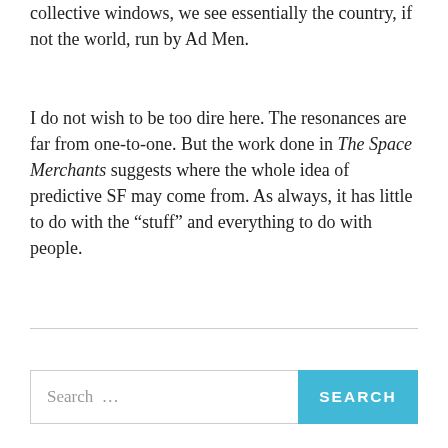collective windows, we see essentially the country, if not the world, run by Ad Men.
I do not wish to be too dire here. The resonances are far from one-to-one. But the work done in The Space Merchants suggests where the whole idea of predictive SF may come from. As always, it has little to do with the “stuff” and everything to do with people.